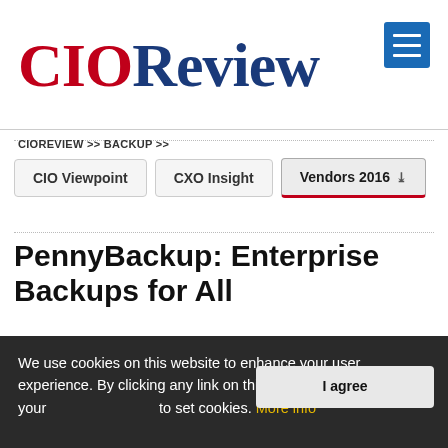CIOReview
CIOREVIEW >> BACKUP >>
CIO Viewpoint | CXO Insight | Vendors 2016
PennyBackup: Enterprise Backups for All
[Figure (logo): PennyBackup logo: a 3D cube icon with green, orange, and blue faces next to the text 'PennyBackup' in bold black]
We use cookies on this website to enhance your user experience. By clicking any link on this page you are giving your consent to set cookies. More info